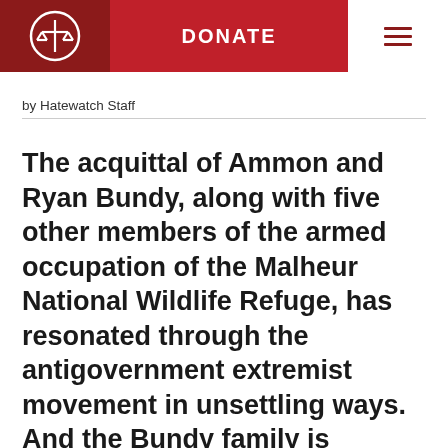DONATE
by Hatewatch Staff
The acquittal of Ammon and Ryan Bundy, along with five other members of the armed occupation of the Malheur National Wildlife Refuge, has resonated through the antigovernment extremist movement in unsettling ways. And the Bundy family is warning the fight might not be over.